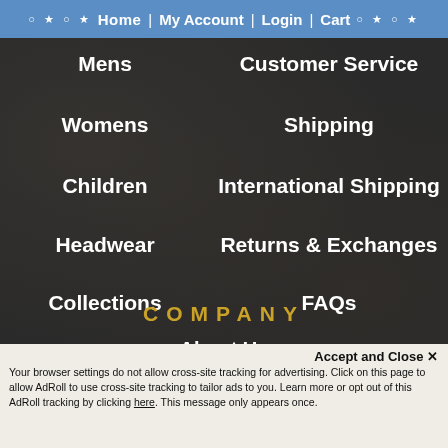○ ★ ○ ★   Home  |  My Account  |  Login  |  Cart   ○ ★ ○ ★
Mens
Customer Service
Womens
Shipping
Children
International Shipping
Headwear
Returns & Exchanges
Collections
FAQs
On Sale
Contact Us
COMPANY
About Us
The B Side Record Store
Wholesale
Officially Licensed Apparel
Custom Screen Printing
Accept and Close ✕
Your browser settings do not allow cross-site tracking for advertising. Click on this page to allow AdRoll to use cross-site tracking to tailor ads to you. Learn more or opt out of this AdRoll tracking by clicking here. This message only appears once.